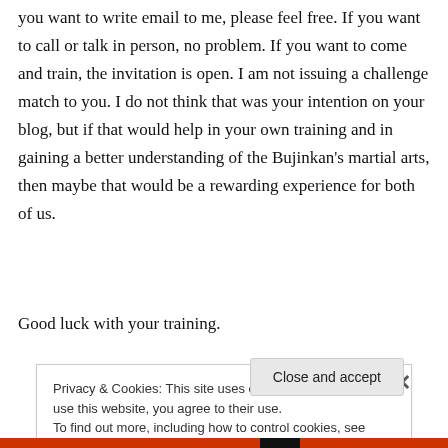you want to write email to me, please feel free. If you want to call or talk in person, no problem. If you want to come and train, the invitation is open. I am not issuing a challenge match to you. I do not think that was your intention on your blog, but if that would help in your own training and in gaining a better understanding of the Bujinkan's martial arts, then maybe that would be a rewarding experience for both of us.
Good luck with your training.
Privacy & Cookies: This site uses cookies. By continuing to use this website, you agree to their use.
To find out more, including how to control cookies, see here: Cookie Policy
Close and accept